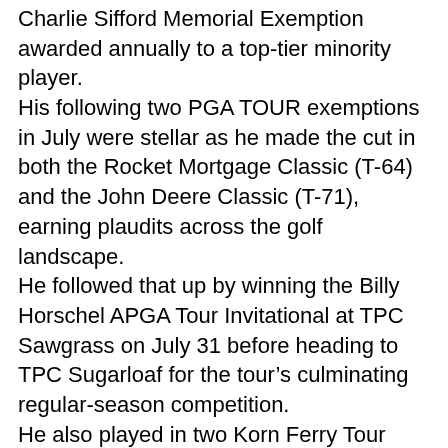Charlie Sifford Memorial Exemption awarded annually to a top-tier minority player.
His following two PGA TOUR exemptions in July were stellar as he made the cut in both the Rocket Mortgage Classic (T-64) and the John Deere Classic (T-71), earning plaudits across the golf landscape.
He followed that up by winning the Billy Horschel APGA Tour Invitational at TPC Sawgrass on July 31 before heading to TPC Sugarloaf for the tour's culminating regular-season competition.
He also played in two Korn Ferry Tour tournaments in building momentum toward the summertime surge.
A feature on Mack this year revealed that he attended PGA Tour Qualifying School several times without success.
However, he did qualify to play on the PGA Tour Latinoamerica circuit in 2018.
“But the prospect of spending a couple of thousand dollars to play in events there without the guarantee of a paycheck wasn’t feasible,” the report stated.
During his early mini-tour days, Mack began sleeping in